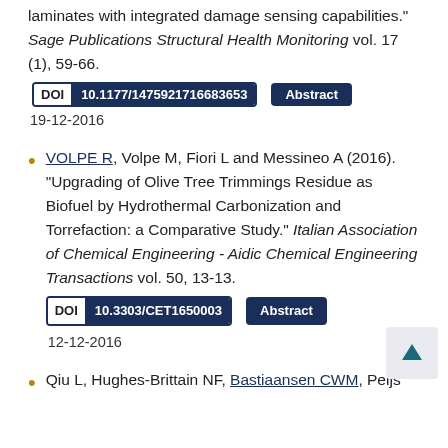laminates with integrated damage sensing capabilities." Sage Publications Structural Health Monitoring vol. 17 (1), 59-66.
DOI 10.1177/1475921716683653   Abstract
19-12-2016
VOLPE R, Volpe M, Fiori L and Messineo A (2016). "Upgrading of Olive Tree Trimmings Residue as Biofuel by Hydrothermal Carbonization and Torrefaction: a Comparative Study." Italian Association of Chemical Engineering - Aidic Chemical Engineering Transactions vol. 50, 13-13.
DOI 10.3303/CET1650003   Abstract
12-12-2016
Qiu L, Hughes-Brittain NF, Bastiaansen CWM, Peijs T, and Wen W (partial/cut off)